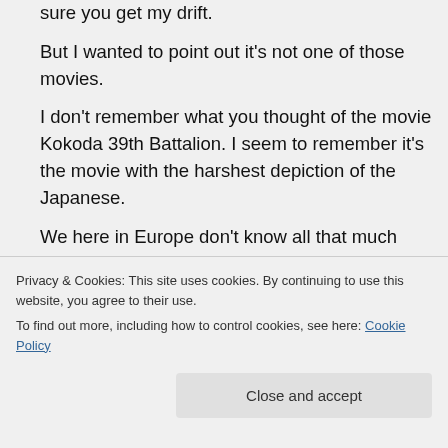sure you get my drift.

But I wanted to point out it's not one of those movies.

I don't remember what you thought of the movie Kokoda 39th Battalion. I seem to remember it's the movie with the harshest depiction of the Japanese.

We here in Europe don't know all that much about the Pacific theater and I thought it was an interesting story. They crammed in a lot but each of the plot lines on its own
Privacy & Cookies: This site uses cookies. By continuing to use this website, you agree to their use.
To find out more, including how to control cookies, see here: Cookie Policy
Close and accept